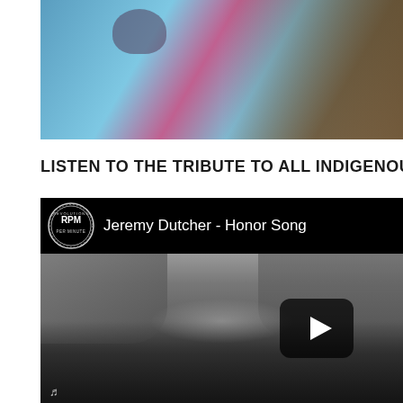[Figure (photo): Partial view of a person in a bright blue garment with colorful accessories, outdoor background]
LISTEN TO THE TRIBUTE TO ALL INDIGENOUS TRU...
[Figure (screenshot): YouTube-style video embed showing 'Jeremy Dutcher - Honor Song' with RPM logo, black and white thumbnail of people gathered outdoors with a play button overlay]